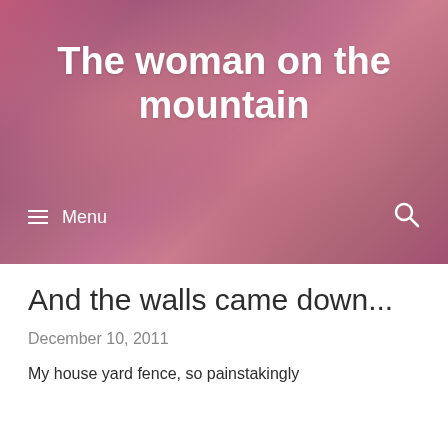[Figure (photo): Pink and purple cloudy sky background for blog header]
The woman on the mountain
≡ Menu
And the walls came down...
December 10, 2011
My house yard fence, so painstakingly erected awhile ago, over the last 17...